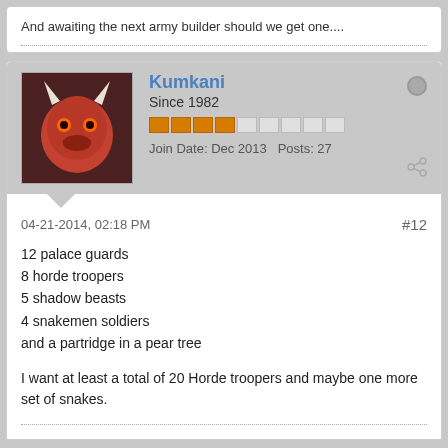And awaiting the next army builder should we get one....
Kumkani
Since 1982
Join Date: Dec 2013   Posts: 27
04-21-2014, 02:18 PM
#12
12 palace guards
8 horde troopers
5 shadow beasts
4 snakemen soldiers
and a partridge in a pear tree
I want at least a total of 20 Horde troopers and maybe one more set of snakes.
KOLOBOSREXX
Really Evil Warrior!!